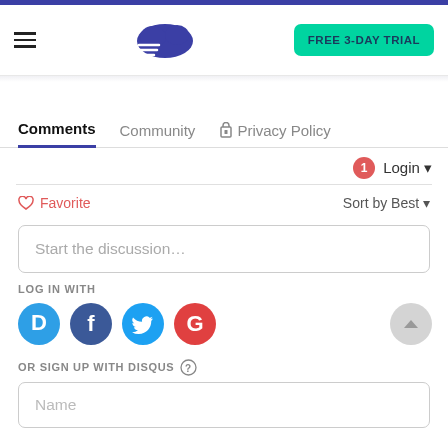[Figure (screenshot): Navigation bar with hamburger menu, cloud logo, and FREE 3-DAY TRIAL button]
Comments  Community  Privacy Policy
Login
Favorite  Sort by Best
Start the discussion...
LOG IN WITH
[Figure (illustration): Social login icons: Disqus (D), Facebook (F), Twitter bird, Google (G)]
OR SIGN UP WITH DISQUS
Name